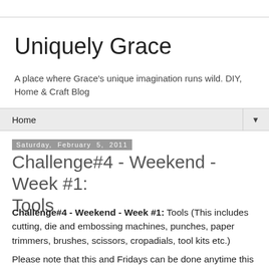Uniquely Grace
A place where Grace's unique imagination runs wild. DIY, Home & Craft Blog
Home ▼
Saturday, February 5, 2011
Challenge#4 - Weekend - Week #1: Tools
Challenge#4 - Weekend - Week #1: Tools (This includes cutting, die and embossing machines, punches, paper trimmers, brushes, scissors, cropadials, tool kits etc.)
Please note that this and Fridays can be done anytime this